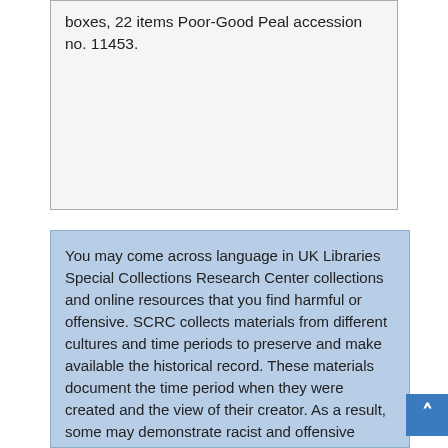boxes, 22 items Poor-Good Peal accession no. 11453.
You may come across language in UK Libraries Special Collections Research Center collections and online resources that you find harmful or offensive. SCRC collects materials from different cultures and time periods to preserve and make available the historical record. These materials document the time period when they were created and the view of their creator. As a result, some may demonstrate racist and offensive views that do not reflect the values of UK Libraries.

If you find description with problematic